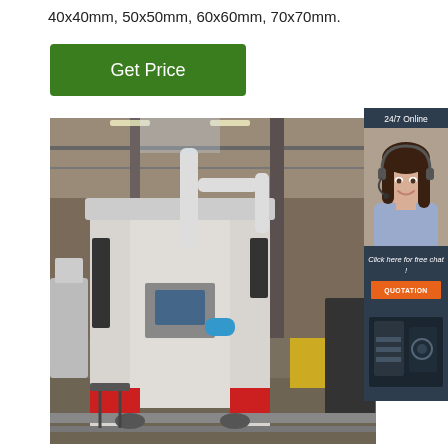40x40mm, 50x50mm, 60x60mm, 70x70mm.
Get Price
[Figure (photo): Industrial CNC machine / pipe cutting machine in a large factory warehouse with red and white body, multiple workstations visible in the background]
[Figure (photo): 24/7 Online customer service agent: smiling woman with headset. Sidebar panel with 'Click here for free chat!' and orange QUOTATION button]